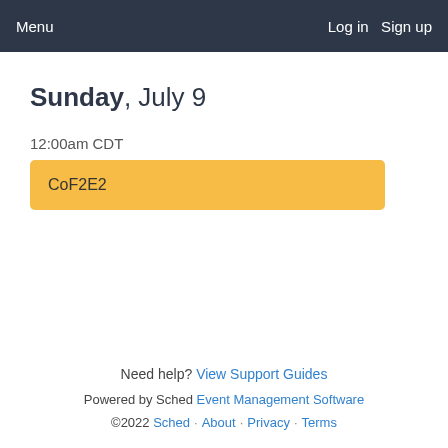Menu  Log in  Sign up
Sunday, July 9
12:00am CDT
CoF2E2
Need help? View Support Guides
Powered by Sched Event Management Software  ©2022 Sched · About · Privacy · Terms